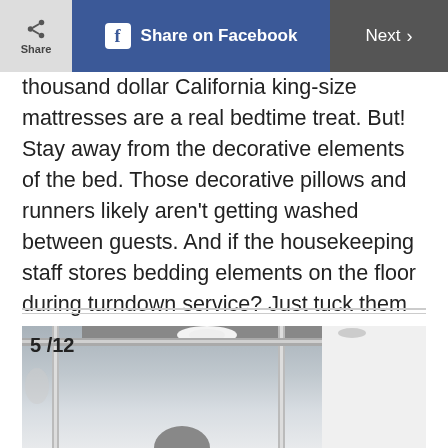Share | Share on Facebook | Next
thousand dollar California king-size mattresses are a real bedtime treat. But! Stay away from the decorative elements of the bed. Those decorative pillows and runners likely aren't getting washed between guests. And if the housekeeping staff stores bedding elements on the floor during turndown service? Just tuck them in the closet for the rest of your stay. Ew.
[Figure (photo): Bathroom interior showing a glass shower enclosure with chrome fixtures, ceiling-mounted lights, and a partial view of a person's head at the bottom of the frame. The image is labeled 5/12.]